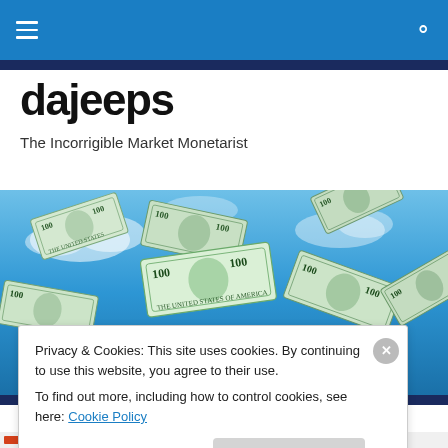dajeeps - navigation bar with hamburger menu and search icon
dajeeps
The Incorrigible Market Monetarist
[Figure (photo): Hero image of US $100 dollar bills flying through a blue sky with clouds]
Privacy & Cookies: This site uses cookies. By continuing to use this website, you agree to their use.
To find out more, including how to control cookies, see here: Cookie Policy
Close and accept